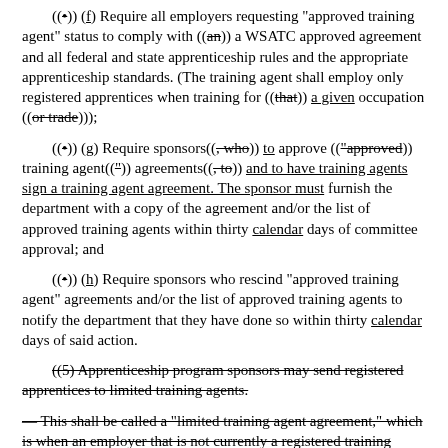((•)) (f) Require all employers requesting "approved training agent" status to comply with ((an)) a WSATC approved agreement and all federal and state apprenticeship rules and the appropriate apprenticeship standards. (The training agent shall employ only registered apprentices when training for ((that)) a given occupation ((or trade)));
((•)) (g) Require sponsors((, who)) to approve (("approved)) training agent((")) agreements((, to)) and to have training agents sign a training agent agreement. The sponsor must furnish the department with a copy of the agreement and/or the list of approved training agents within thirty calendar days of committee approval; and
((•)) (h) Require sponsors who rescind "approved training agent" agreements and/or the list of approved training agents to notify the department that they have done so within thirty calendar days of said action.
(((5) Apprenticeship program sponsors may send registered apprentices to limited training agents.
— This shall be called a "limited training agent agreement," which is when an employer that is not currently a registered training agent, from apprenticeship standards, joins in the...